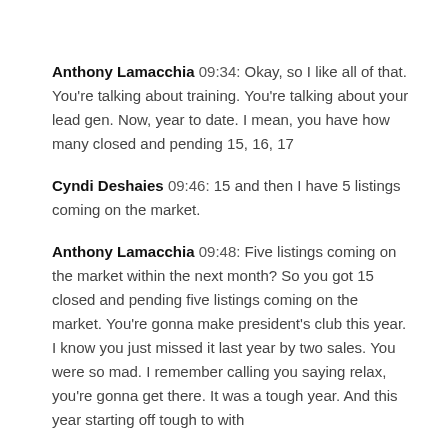Anthony Lamacchia 09:34: Okay, so I like all of that. You're talking about training. You're talking about your lead gen. Now, year to date. I mean, you have how many closed and pending 15, 16, 17
Cyndi Deshaies 09:46: 15 and then I have 5 listings coming on the market.
Anthony Lamacchia 09:48: Five listings coming on the market within the next month? So you got 15 closed and pending five listings coming on the market. You're gonna make president's club this year. I know you just missed it last year by two sales. You were so mad. I remember calling you saying relax, you're gonna get there. It was a tough year. And this year starting off tough to with